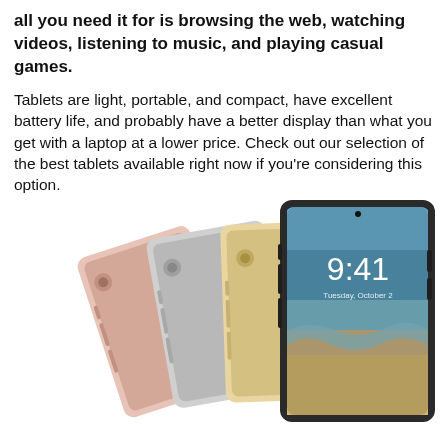all you need it for is browsing the web, watching videos, listening to music, and playing casual games.
Tablets are light, portable, and compact, have excellent battery life, and probably have a better display than what you get with a laptop at a lower price. Check out our selection of the best tablets available right now if you're considering this option.
[Figure (photo): Four Apple iPad Pro tablets shown fanned out, displaying different color finishes: rose gold, silver, gold, and space gray. The frontmost tablet displays the iOS lock screen showing time 9:41.]